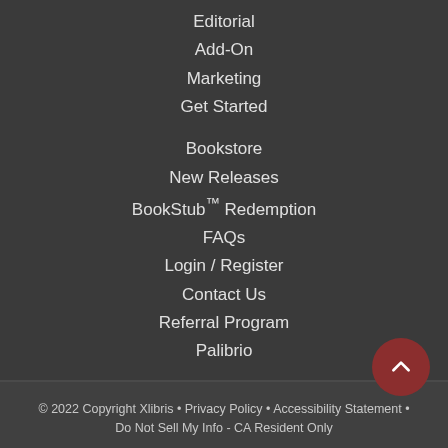Editorial
Add-On
Marketing
Get Started
Bookstore
New Releases
BookStub™ Redemption
FAQs
Login / Register
Contact Us
Referral Program
Palibrio
© 2022 Copyright Xlibris • Privacy Policy • Accessibility Statement • Do Not Sell My Info - CA Resident Only